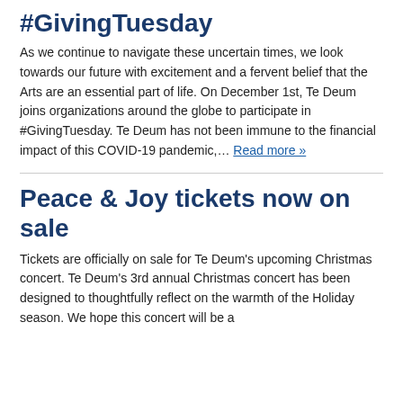#GivingTuesday
As we continue to navigate these uncertain times, we look towards our future with excitement and a fervent belief that the Arts are an essential part of life. On December 1st, Te Deum joins organizations around the globe to participate in #GivingTuesday. Te Deum has not been immune to the financial impact of this COVID-19 pandemic,... Read more »
Peace & Joy tickets now on sale
Tickets are officially on sale for Te Deum's upcoming Christmas concert. Te Deum's 3rd annual Christmas concert has been designed to thoughtfully reflect on the warmth of the Holiday season. We hope this concert will be a